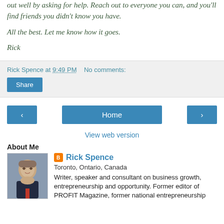out well by asking for help. Reach out to everyone you can, and you'll find friends you didn't know you have.
All the best. Let me know how it goes.
Rick
Rick Spence at 9:49 PM   No comments:
Share
‹
Home
›
View web version
About Me
[Figure (photo): Headshot photo of Rick Spence, a man with light hair and glasses wearing a dark suit with red tie]
Rick Spence
Toronto, Ontario, Canada
Writer, speaker and consultant on business growth, entrepreneurship and opportunity. Former editor of PROFIT Magazine, former national entrepreneurship